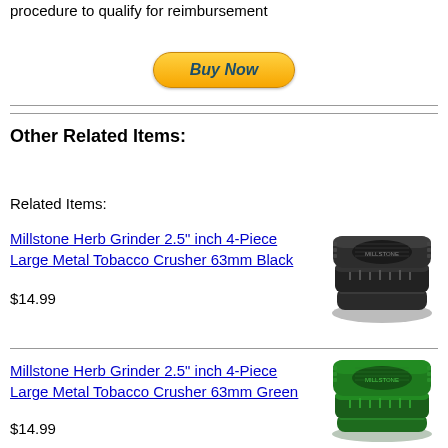procedure to qualify for reimbursement
[Figure (other): Buy Now button with orange gradient and rounded rectangle shape]
Other Related Items:
Related Items:
Millstone Herb Grinder 2.5" inch 4-Piece Large Metal Tobacco Crusher 63mm Black
[Figure (photo): Black metal herb grinder, circular, 4-piece, 63mm]
$14.99
Millstone Herb Grinder 2.5" inch 4-Piece Large Metal Tobacco Crusher 63mm Green
[Figure (photo): Green metal herb grinder, circular, 4-piece, 63mm]
$14.99